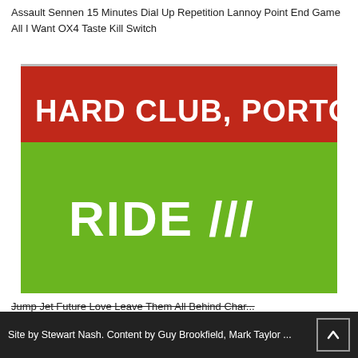Assault Sennen 15 Minutes Dial Up Repetition Lannoy Point End Game All I Want OX4 Taste Kill Switch
[Figure (photo): Green and red event poster for a RIDE concert at Hard Club, Porto, Portugal. Red banner at top reads 'HARD CLUB, PORTO, PORTUG...' and green background shows 'RIDE ///' in white bold text.]
Jump Jet Future Love Leave Them All Behind Char... Assault Sennen 15 Minutes Shadows Behind The... Repetition Lannoy Point End Game All I Want OX4
Site by Stewart Nash. Content by Guy Brookfield, Mark Taylor ...